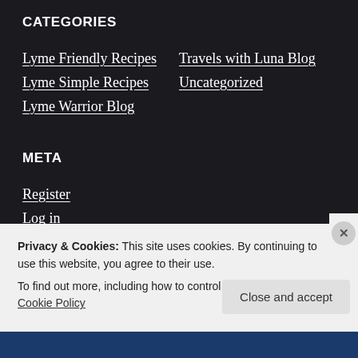CATEGORIES
Lyme Friendly Recipes
Lyme Simple Recipes
Lyme Warrior Blog
Travels with Luna Blog
Uncategorized
META
Register
Log in
Entries feed
Privacy & Cookies: This site uses cookies. By continuing to use this website, you agree to their use.
To find out more, including how to control cookies, see here: Cookie Policy
Close and accept